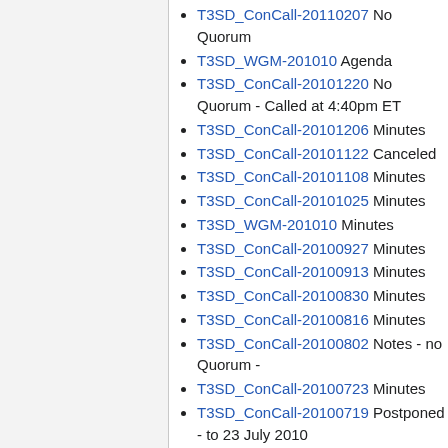T3SD_ConCall-20110207 No Quorum
T3SD_WGM-201010 Agenda
T3SD_ConCall-20101220 No Quorum - Called at 4:40pm ET
T3SD_ConCall-20101206 Minutes
T3SD_ConCall-20101122 Canceled
T3SD_ConCall-20101108 Minutes
T3SD_ConCall-20101025 Minutes
T3SD_WGM-201010 Minutes
T3SD_ConCall-20100927 Minutes
T3SD_ConCall-20100913 Minutes
T3SD_ConCall-20100830 Minutes
T3SD_ConCall-20100816 Minutes
T3SD_ConCall-20100802 Notes - no Quorum -
T3SD_ConCall-20100723 Minutes
T3SD_ConCall-20100719 Postponed - to 23 July 2010